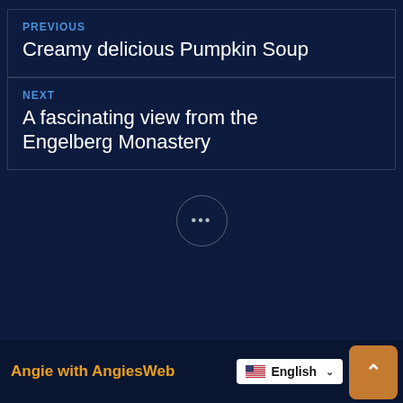PREVIOUS
Creamy delicious Pumpkin Soup
NEXT
A fascinating view from the Engelberg Monastery
•••
Angie with AngiesWeb
English